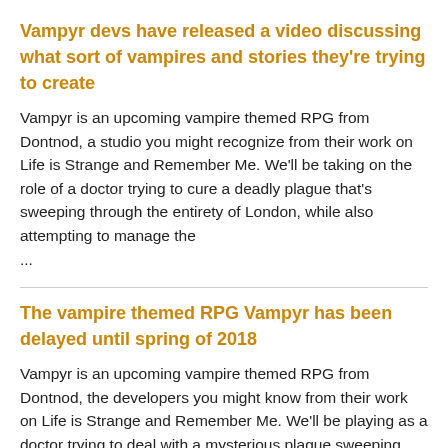Vampyr devs have released a video discussing what sort of vampires and stories they're trying to create
Vampyr is an upcoming vampire themed RPG from Dontnod, a studio you might recognize from their work on Life is Strange and Remember Me. We'll be taking on the role of a doctor trying to cure a deadly plague that's sweeping through the entirety of London, while also attempting to manage the ...
The vampire themed RPG Vampyr has been delayed until spring of 2018
Vampyr is an upcoming vampire themed RPG from Dontnod, the developers you might know from their work on Life is Strange and Remember Me. We'll be playing as a doctor trying to deal with a mysterious plague sweeping through the entirety of London, while simultaneously attempting to manage our